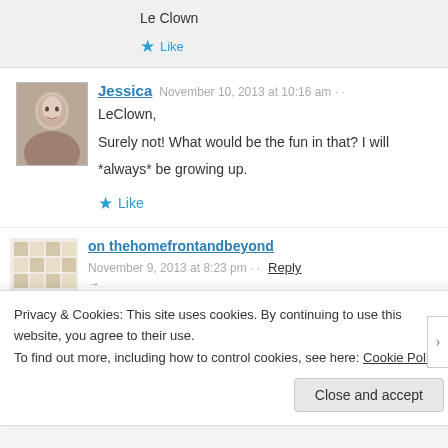Le Clown
★ Like
Jessica  November 10, 2013 at 10:16 am
LeClown,

Surely not! What would be the fun in that? I will

*always* be growing up.
★ Like
on thehomefrontandbeyond  November 9, 2013 at 8:23 pm  Reply
Again, you do the hard thing; again, you succeed. I am just sorry you
Privacy & Cookies: This site uses cookies. By continuing to use this website, you agree to their use.
To find out more, including how to control cookies, see here: Cookie Policy
Close and accept